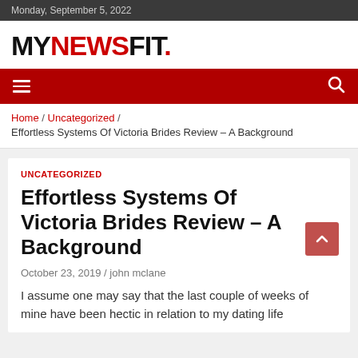Monday, September 5, 2022
MYNEWSFIT.
Navigation bar with menu and search icons
Home / Uncategorized / Effortless Systems Of Victoria Brides Review – A Background
UNCATEGORIZED
Effortless Systems Of Victoria Brides Review – A Background
October 23, 2019 / john mclane
I assume one may say that the last couple of weeks of mine have been hectic in relation to my dating life